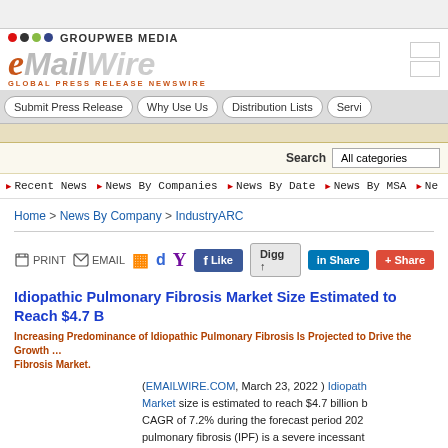GROUPWEB MEDIA — eMailWire — GLOBAL PRESS RELEASE NEWSWIRE
Submit Press Release | Why Use Us | Distribution Lists | Servi...
Search All categories
Recent News | News By Companies | News By Date | News By MSA | Ne...
Home > News By Company > IndustryARC
Idiopathic Pulmonary Fibrosis Market Size Estimated to Reach $4.7 B...
Increasing Predominance of Idiopathic Pulmonary Fibrosis Is Projected to Drive the Growth... Fibrosis Market.
(EMAILWIRE.COM, March 23, 2022 ) Idiopathic Pulmonary Fibrosis Market size is estimated to reach $4.7 billion by... CAGR of 7.2% during the forecast period 202... pulmonary fibrosis (IPF) is a severe incessant... influences the tissue surrounding the air sacs,... lungs. This condition happens when that lung... and inflexible for unrecognized reasons. Sup...